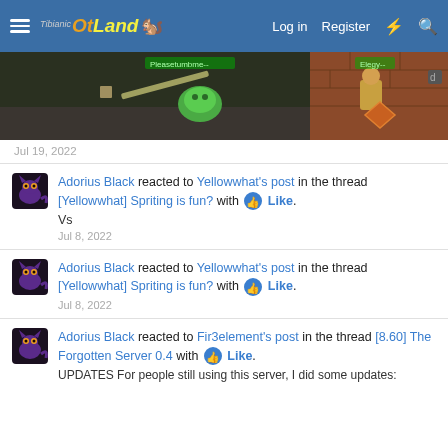OtLand — Log in  Register
[Figure (screenshot): Game screenshot showing a dark dungeon scene with green slime creature, sword weapon, and a player character near an orange chest on brick wall.]
Jul 19, 2022
Adorius Black reacted to Yellowhat's post in the thread [Yellowhat] Spriting is fun? with Like.
Vs
Jul 8, 2022
Adorius Black reacted to Yellowhat's post in the thread [Yellowhat] Spriting is fun? with Like.
Jul 8, 2022
Adorius Black reacted to Fir3element's post in the thread [8.60] The Forgotten Server 0.4 with Like.
UPDATES For people still using this server, I did some updates: